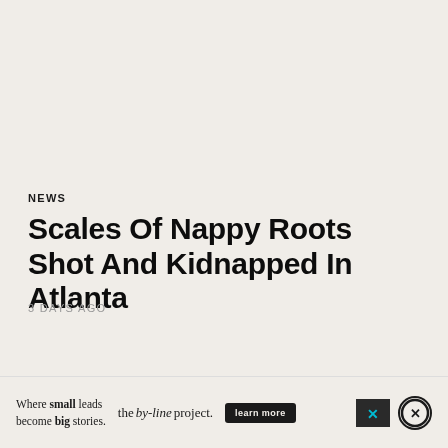NEWS
Scales Of Nappy Roots Shot And Kidnapped In Atlanta
3 DAYS AGO
[Figure (other): Advertisement banner for 'the by-line project' with tagline 'Where small leads become big stories.' and a 'learn more' button, plus close icons.]